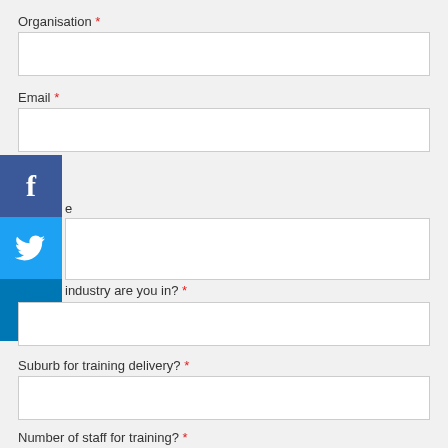Organisation *
Email *
[Figure (illustration): Facebook, Twitter, and LinkedIn social media share icons stacked vertically on the left side of the form]
industry are you in? *
Suburb for training delivery? *
Number of staff for training? *